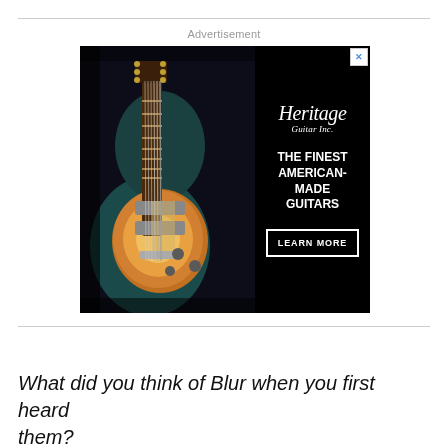Advertisement
[Figure (photo): Heritage Guitar Inc. advertisement showing a sunburst electric guitar in a case, with text 'THE FINEST AMERICAN-MADE GUITARS' and a 'LEARN MORE' button on a dark background.]
What did you think of Blur when you first heard them?